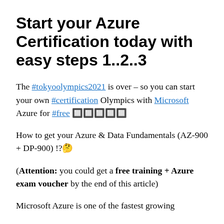Start your Azure Certification today with easy steps 1..2..3
The #tokyoolympics2021 is over – so you can start your own #certification Olympics with Microsoft Azure for #free 🔥🔥🔥🔥🔥
How to get your Azure & Data Fundamentals (AZ-900 + DP-900) !?🤔
(Attention: you could get a free training + Azure exam voucher by the end of this article)
Microsoft Azure is one of the fastest growing